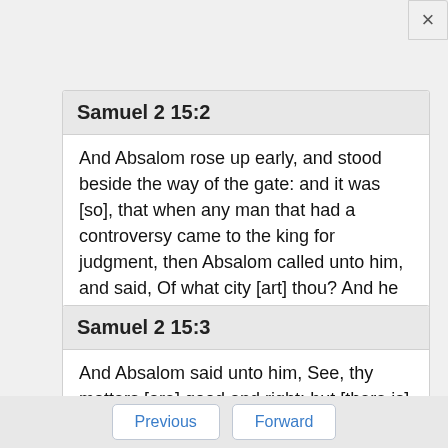Samuel 2 15:2
And Absalom rose up early, and stood beside the way of the gate: and it was [so], that when any man that had a controversy came to the king for judgment, then Absalom called unto him, and said, Of what city [art] thou? And he said, Thy servant [is] of one of the tribes of Israel.
Samuel 2 15:3
And Absalom said unto him, See, thy matters [are] good and right: but [there is] no man [deputed] of